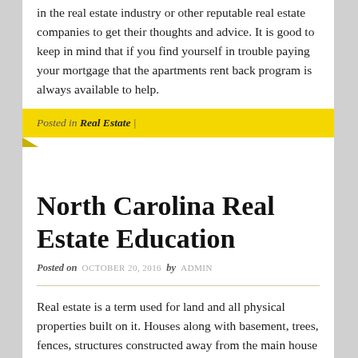in the real estate industry or other reputable real estate companies to get their thoughts and advice. It is good to keep in mind that if you find yourself in trouble paying your mortgage that the apartments rent back program is always available to help.
Posted in Real Estate |
North Carolina Real Estate Education
Posted on OCTOBER 20, 2016 by ADMIN
Real estate is a term used for land and all physical properties built on it. Houses along with basement, trees, fences, structures constructed away from the main house and drainage system are considered as a part of real estate.